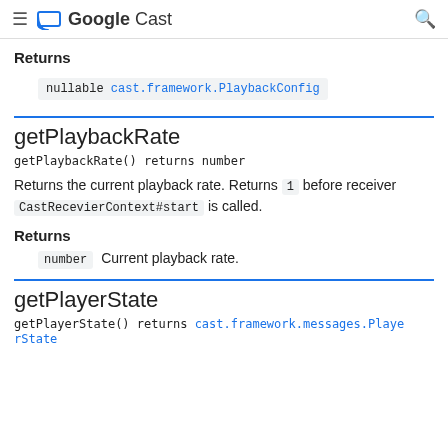Google Cast
Returns
nullable cast.framework.PlaybackConfig
getPlaybackRate
getPlaybackRate() returns number
Returns the current playback rate. Returns 1 before receiver CastRecevierContext#start is called.
Returns
number  Current playback rate.
getPlayerState
getPlayerState() returns cast.framework.messages.PlayerState